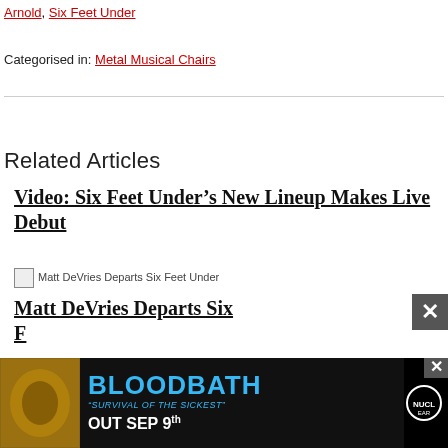Arnold, Six Feet Under
Categorised in: Metal Musical Chairs
Related Articles
Video: Six Feet Under’s New Lineup Makes Live Debut
[Figure (photo): Matt DeVries Departs Six Feet Under - small thumbnail image placeholder]
Matt DeVries Departs Six Feet Under
[Figure (other): Bloodbath advertisement banner: BLOODBATH 'Survival of the Sickest' OUT SEP 9th, with album artwork]